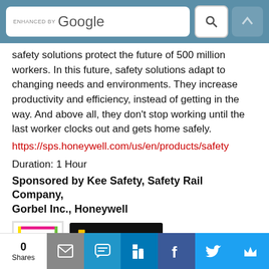[Figure (screenshot): Google search bar with 'ENHANCED BY Google' text, search icon button, and up arrow button, on teal/slate blue background]
safety solutions protect the future of 500 million workers. In this future, safety solutions adapt to changing needs and environments. They increase productivity and efficiency, instead of getting in the way. And above all, they don't stop working until the last worker clocks out and gets home safely.
https://sps.honeywell.com/us/en/products/safety
Duration: 1 Hour
Sponsored by Kee Safety, Safety Rail Company, Gorbel Inc., Honeywell
[Figure (logo): Kee Safety logo - square with colorful border]
[Figure (logo): Safety Rail Company logo - black background with shield icon]
[Figure (logo): GORBEL - A CLASS ABOVE logo]
[Figure (logo): Honeywell logo in red text]
[Figure (infographic): Social share bar with 0 Shares count, email, messaging, LinkedIn, Facebook, Twitter, and crown share icons]